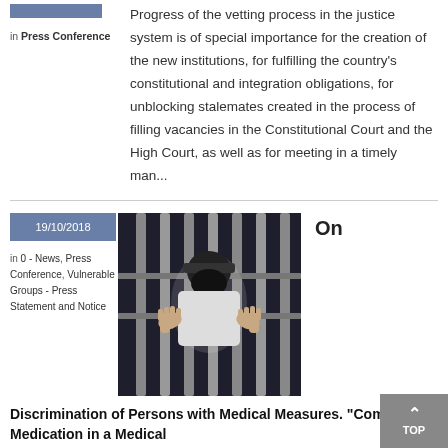[Figure (illustration): Decorative banner/tag image in blue-grey color at top left]
in Press Conference
Progress of the vetting process in the justice system is of special importance for the creation of the new institutions, for fulfilling the country's constitutional and integration obligations, for unblocking stalemates created in the process of filling vacancies in the Constitutional Court and the High Court, as well as for meeting in a timely man...
19/10/2018
in 0 - News, Press Conference, Vulnerable Groups - Press Statement and Notice
[Figure (photo): Person behind prison bars, hands gripping bars, face obscured]
On
Discrimination of Persons with Medical Measures. "Compulsory Medication in a Medical